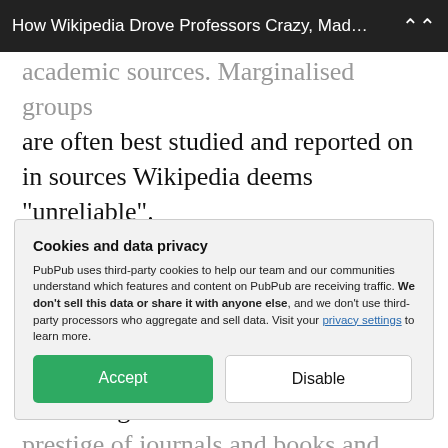How Wikipedia Drove Professors Crazy, Mad…
academic sources. Marginalised groups are often best studied and reported on in sources Wikipedia deems "unreliable".
Wikipedia's definition for reliability in a source means having a "reputation for fact-checking and accuracy." In practice, this subjective rubric for evaluating the prestige of journals and books and
Cookies and data privacy
PubPub uses third-party cookies to help our team and our communities understand which features and content on PubPub are receiving traffic. We don't sell this data or share it with anyone else, and we don't use third-party processors who aggregate and sell data. Visit your privacy settings to learn more.